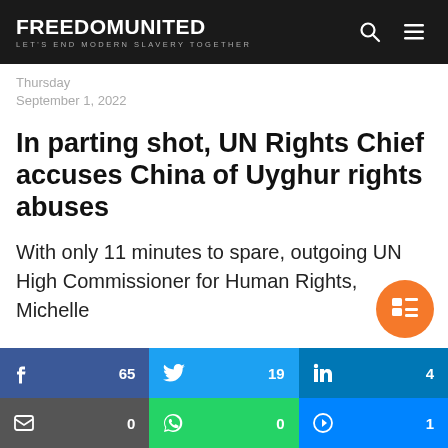FREEDOM UNITED — LET'S END MODERN SLAVERY TOGETHER
Thursday
September 1, 2022
In parting shot, UN Rights Chief accuses China of Uyghur rights abuses
With only 11 minutes to spare, outgoing UN High Commissioner for Human Rights, Michelle